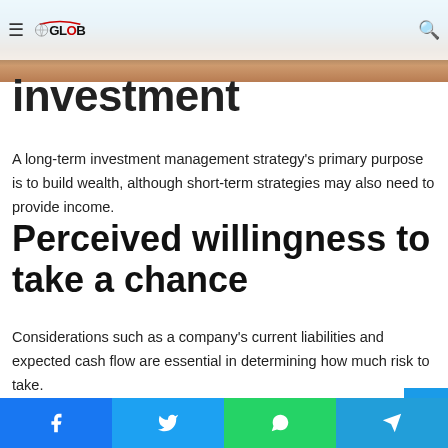GlobePredict
investment
A long-term investment management strategy's primary purpose is to build wealth, although short-term strategies may also need to provide income.
Perceived willingness to take a chance
Considerations such as a company's current liabilities and expected cash flow are essential in determining how much risk to take.